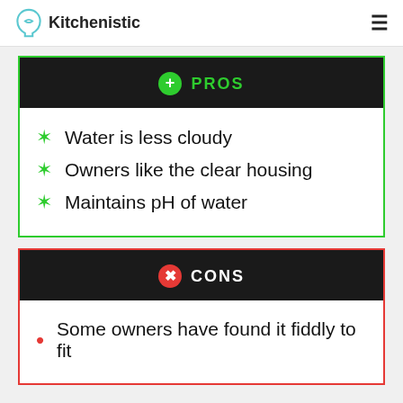Kitchenistic
PROS
Water is less cloudy
Owners like the clear housing
Maintains pH of water
CONS
Some owners have found it fiddly to fit